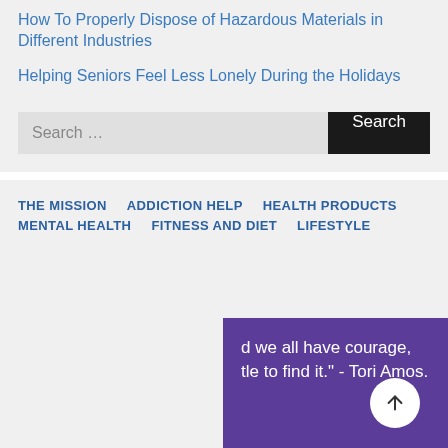How To Properly Dispose of Hazardous Materials in Different Industries
Helping Seniors Feel Less Lonely During the Holidays
Search …
THE MISSION
ADDICTION HELP
HEALTH PRODUCTS
MENTAL HEALTH
FITNESS AND DIET
LIFESTYLE
d we all have courage, tle to find it." - Tori Amos.